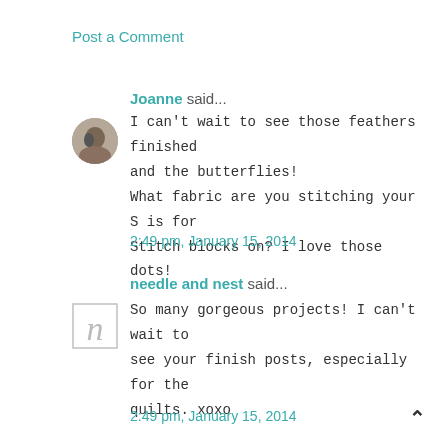Post a Comment
Joanne said...
[Figure (photo): Small circular avatar photo of a person]
I can't wait to see those feathers finished and the butterflies! What fabric are you stitching your S is for Stitch blocks on? I love those dots!
2:49 pm, January 15, 2014
needle and nest said...
[Figure (illustration): Small square icon with letter n in italic serif font, bordered]
So many gorgeous projects! I can't wait to see your finish posts, especially for the quilts. xoxo
2:49 pm, January 15, 2014